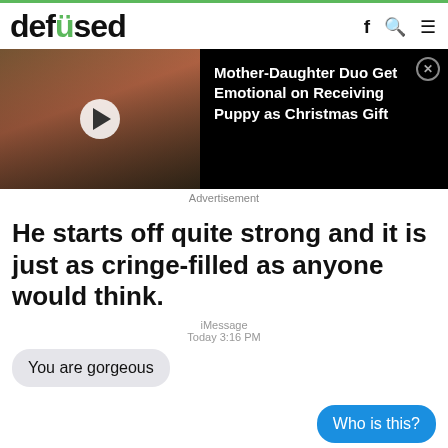defused
[Figure (screenshot): Video thumbnail of mother and daughter opening Christmas gift, with dark overlay showing ad text: Mother-Daughter Duo Get Emotional on Receiving Puppy as Christmas Gift]
Advertisement
He starts off quite strong and it is just as cringe-filled as anyone would think.
[Figure (screenshot): iMessage conversation. Timestamp: iMessage Today 3:16 PM. Left bubble: You are gorgeous. Right blue bubble: Who is this?]